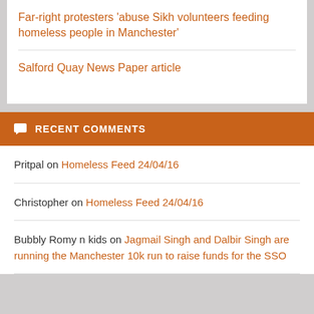Far-right protesters 'abuse Sikh volunteers feeding homeless people in Manchester'
Salford Quay News Paper article
RECENT COMMENTS
Pritpal on Homeless Feed 24/04/16
Christopher on Homeless Feed 24/04/16
Bubbly Romy n kids on Jagmail Singh and Dalbir Singh are running the Manchester 10k run to raise funds for the SSO